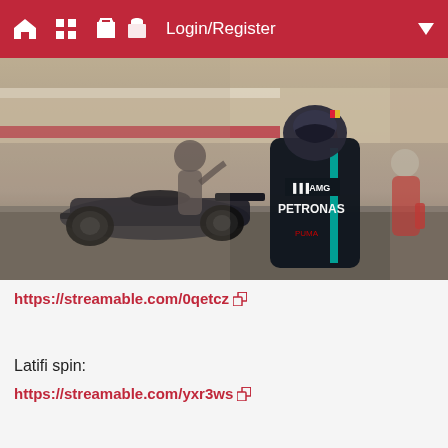Login/Register
[Figure (photo): F1 racing scene showing a Mercedes AMG Petronas driver in black race suit viewed from behind, standing near a Formula 1 car on track. Another person in grey suit is visible in background left, and someone in red suit on right. Track barriers visible in background.]
https://streamable.com/0qetcz
Latifi spin:
https://streamable.com/yxr3ws